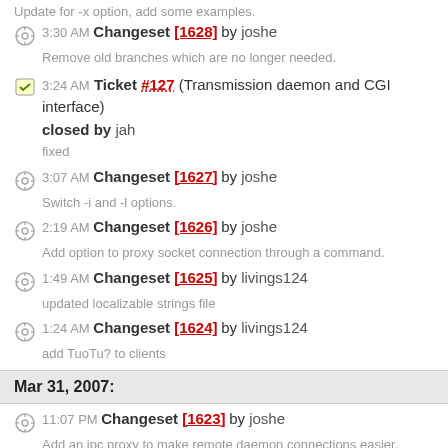Update for -x option, add some examples.
3:30 AM Changeset [1628] by joshe — Remove old branches which are no longer needed.
3:24 AM Ticket #127 (Transmission daemon and CGI interface) closed by jah — fixed
3:07 AM Changeset [1627] by joshe — Switch -i and -l options.
2:19 AM Changeset [1626] by joshe — Add option to proxy socket connection through a command.
1:49 AM Changeset [1625] by livings124 — updated localizable strings file
1:24 AM Changeset [1624] by livings124 — add TuoTu? to clients
Mar 31, 2007:
11:07 PM Changeset [1623] by joshe — Add an ipc proxy to make remote daemon connections easier.
9:37 PM Changeset [1622] by joshe — Fix tr_getPrefsDirectory() to make more sense on osx.
8:30 PM Changeset [1621] by joshe